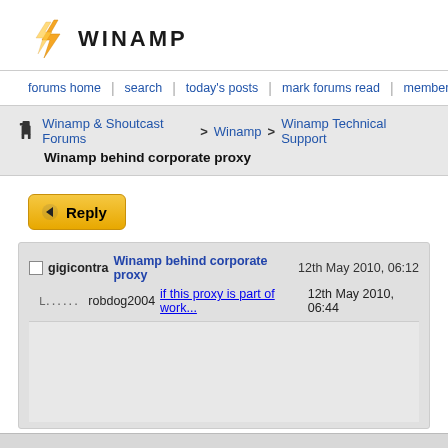[Figure (logo): Winamp logo with lightning bolt icon and WINAMP text]
forums home | search | today's posts | mark forums read | members list | faq |
Winamp & Shoutcast Forums > Winamp > Winamp Technical Support
Winamp behind corporate proxy
Reply button
gigicontra Winamp behind corporate proxy 12th May 2010, 06:12
robdog2004 if this proxy is part of work... 12th May 2010, 06:44